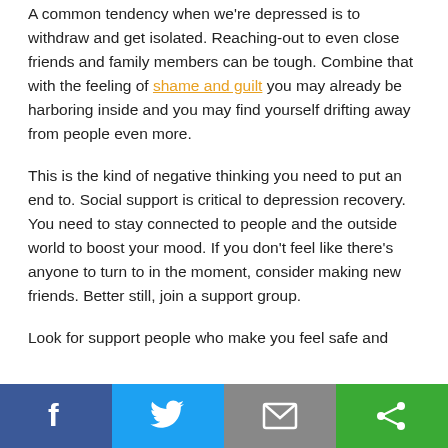A common tendency when we're depressed is to withdraw and get isolated. Reaching-out to even close friends and family members can be tough. Combine that with the feeling of shame and guilt you may already be harboring inside and you may find yourself drifting away from people even more.
This is the kind of negative thinking you need to put an end to. Social support is critical to depression recovery. You need to stay connected to people and the outside world to boost your mood. If you don't feel like there's anyone to turn to in the moment, consider making new friends. Better still, join a support group.
Look for support people who make you feel safe and
[Figure (infographic): Social sharing bar with four buttons: Facebook (blue), Twitter (light blue), Email (gray), and More/Share (green), each with white icons]